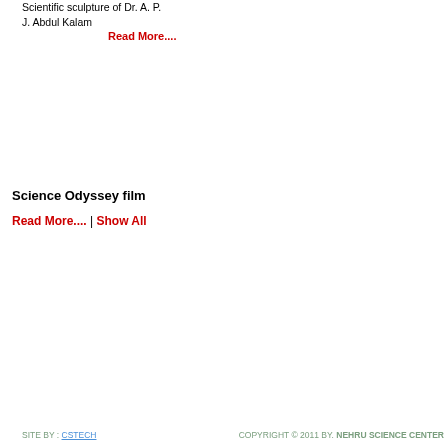Scientific sculpture of Dr. A. P. J. Abdul Kalam
Read More....
Science Odyssey film
Read More.... | Show All
[Figure (other): Embedded plugin media area with a green rectangle placeholder and 'uldn't load plug' text indicating a plugin that failed to load]
SITE BY : CSTECH    COPYRIGHT © 2011 BY. NEHRU SCIENCE CENTER